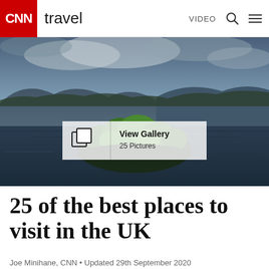CNN travel  VIDEO
[Figure (photo): Aerial view of a small tree-covered island surrounded by dark water, with forested mountains and dramatic cloudy sky in the background. A 'View Gallery / 25 Pictures' overlay appears at center.]
25 of the best places to visit in the UK
Joe Minihane, CNN • Updated 29th September 2020